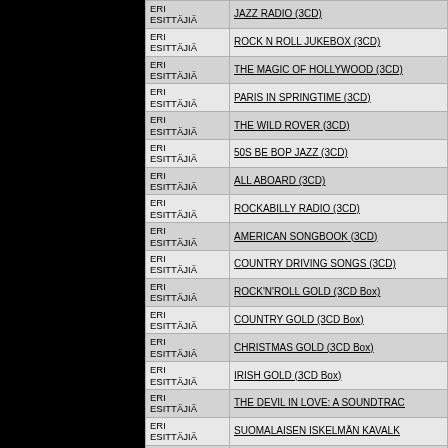| Artist | Title |
| --- | --- |
| ERI ESITTÄJIÄ | JAZZ RADIO (3CD) |
| ERI ESITTÄJIÄ | ROCK N ROLL JUKEBOX (3CD) |
| ERI ESITTÄJIÄ | THE MAGIC OF HOLLYWOOD (3CD) |
| ERI ESITTÄJIÄ | PARIS IN SPRINGTIME (3CD) |
| ERI ESITTÄJIÄ | THE WILD ROVER (3CD) |
| ERI ESITTÄJIÄ | 50S BE BOP JAZZ (3CD) |
| ERI ESITTÄJIÄ | ALL ABOARD (3CD) |
| ERI ESITTÄJIÄ | ROCKABILLY RADIO (3CD) |
| ERI ESITTÄJIÄ | AMERICAN SONGBOOK (3CD) |
| ERI ESITTÄJIÄ | COUNTRY DRIVING SONGS (3CD) |
| ERI ESITTÄJIÄ | ROCK'N'ROLL GOLD (3CD Box) |
| ERI ESITTÄJIÄ | COUNTRY GOLD (3CD Box) |
| ERI ESITTÄJIÄ | CHRISTMAS GOLD (3CD Box) |
| ERI ESITTÄJIÄ | IRISH GOLD (3CD Box) |
| ERI ESITTÄJIÄ | THE DEVIL IN LOVE: A SOUNDTRAC |
| ERI ESITTÄJIÄ | SUOMALAISEN ISKELMÄN KAVALK |
| ERI ESITTÄJIÄ | KESÄISEN ISKELMÄN KAVALKADI- |
| ERI ESITTÄJIÄ | CALIFORNIA-KITTILÄ - POP & ROCI |